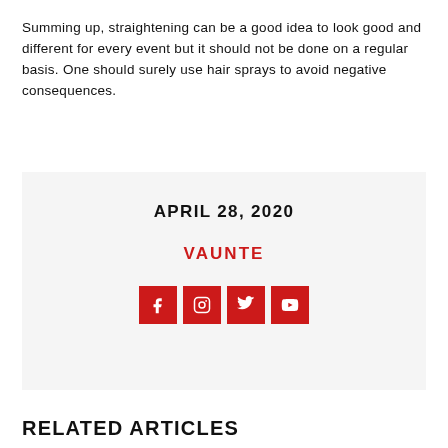Summing up, straightening can be a good idea to look good and different for every event but it should not be done on a regular basis. One should surely use hair sprays to avoid negative consequences.
APRIL 28, 2020
VAUNTE
[Figure (infographic): Social media icons: Facebook, Instagram, Twitter, YouTube — white icons on red square backgrounds]
RELATED ARTICLES